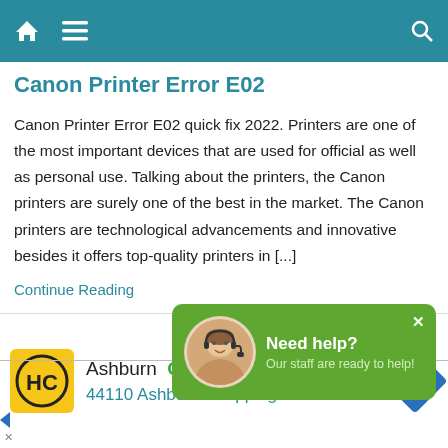Canon Printer Error E02
Canon Printer Error E02
Canon Printer Error E02 quick fix 2022. Printers are one of the most important devices that are used for official as well as personal use. Talking about the printers, the Canon printers are surely one of the best in the market. The Canon printers are technological advancements and innovative besides it offers top-quality printers in [...]
Continue Reading
Cano
[Figure (screenshot): Green chat popup with avatar and text: Need help? Our staff are ready to help!]
[Figure (screenshot): Advertisement bar: HC logo, Ashburn OPEN 9AM-6PM, 44110 Ashburn Shopping Plaza 1., navigation icon]